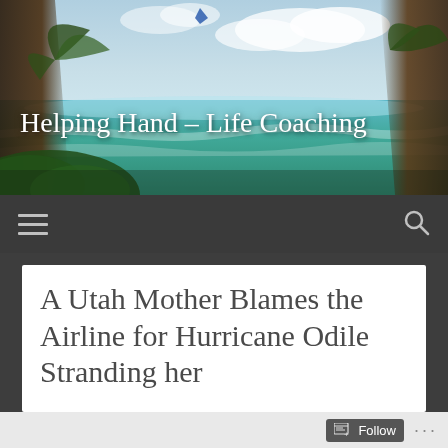[Figure (photo): Tropical beach scene with palm trees, turquoise ocean water, and a partly cloudy sky. A kite surfer is visible in the upper portion. Lush green foliage at the bottom left.]
Helping Hand – Life Coaching
A Utah Mother Blames the Airline for Hurricane Odile Stranding her
Follow ...